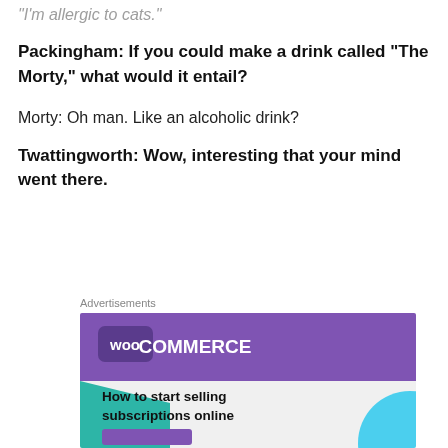"I'm allergic to cats."
Packingham: If you could make a drink called “The Morty,” what would it entail?
Morty: Oh man. Like an alcoholic drink?
Twattingworth: Wow, interesting that your mind went there.
[Figure (screenshot): WooCommerce advertisement banner showing the WooCommerce logo on a purple background with teal geometric shape and text 'How to start selling subscriptions online']